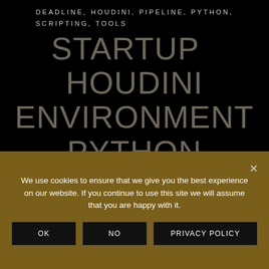DEADLINE, HOUDINI, PIPELINE, PYTHON, SCRIPTING, TOOLS
STARTUP HOUDINI ENVIRONMENT PYTHON TOOL
We use cookies to ensure that we give you the best experience on our website. If you continue to use this site we will assume that you are happy with it.
OK | NO | PRIVACY POLICY